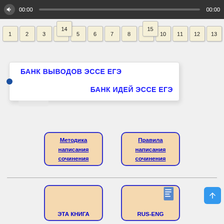[Figure (screenshot): Audio player bar with speaker icon, time 00:00, progress bar, end time 00:00]
[Figure (screenshot): Navigation number buttons 1-13 in first row, 14 and 15 in second row]
БАНК ВЫВОДОВ ЭССЕ ЕГЭ
БАНК ИДЕЙ ЭССЕ ЕГЭ
Методика написания сочинения
Правила написания сочинения
ЭТА КНИГА
RUS-ENG